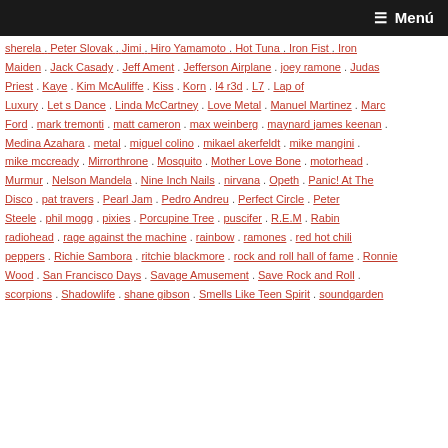≡ Menú
sherela , Peter Slovak , Jimi , Hiro Yamamoto , Hot Tuna , Iron Fist , Iron Maiden , Jack Casady , Jeff Ament , Jefferson Airplane , joey ramone , Judas Priest , Kaye , Kim McAuliffe , Kiss , Korn , l4 r3d , L7 , Lap of Luxury , Let s Dance , Linda McCartney , Love Metal , Manuel Martinez , Marc Ford , mark tremonti , matt cameron , max weinberg , maynard james keenan , Medina Azahara , metal , miguel colino , mikael akerfeldt , mike mangini , mike mccready , Mirrorthrone , Mosquito , Mother Love Bone , motorhead , Murmur , Nelson Mandela , Nine Inch Nails , nirvana , Opeth , Panic! At The Disco , pat travers , Pearl Jam , Pedro Andreu , Perfect Circle , Peter Steele , phil mogg , pixies , Porcupine Tree , puscifer , R.E.M , Rabin , radiohead , rage against the machine , rainbow , ramones , red hot chili peppers , Richie Sambora , ritchie blackmore , rock and roll hall of fame , Ronnie Wood , San Francisco Days , Savage Amusement , Save Rock and Roll , scorpions , Shadowlife , shane gibson , Smells Like Teen Spirit , soundgarden